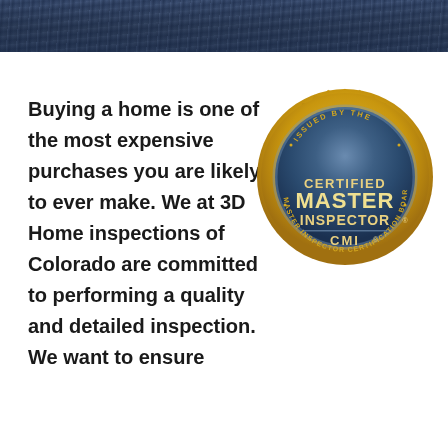[Figure (photo): Dark blue/navy textured horizontal band at top of page, resembling wood grain or water texture]
Buying a home is one of the most expensive purchases you are likely to ever make.  We at 3D Home inspections of Colorado are committed to performing a quality and detailed inspection.  We want to ensure
[Figure (logo): Certified Master Inspector (CMI) gold seal badge issued by the Master Inspector Certification Board]